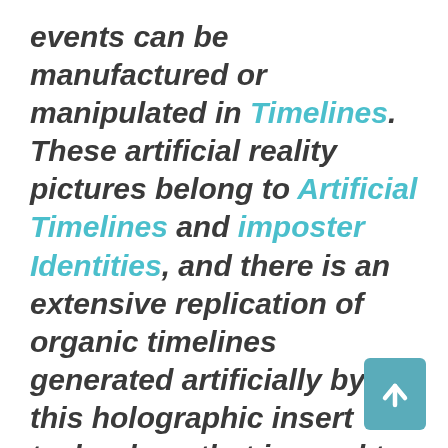events can be manufactured or manipulated in Timelines. These artificial reality pictures belong to Artificial Timelines and imposter Identities, and there is an extensive replication of organic timelines generated artificially by this holographic insert technology that is used to project them into an entire Phantom Matrix. The phantom matrix is a replica of the fallen earth timelines, it is used to blend with organic earth body in order to consume the living light in the